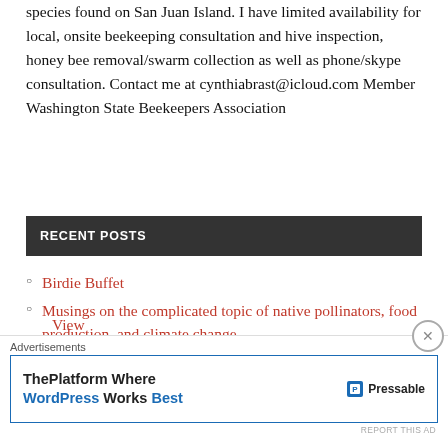species found on San Juan Island. I have limited availability for local, onsite beekeeping consultation and hive inspection, honey bee removal/swarm collection as well as phone/skype consultation. Contact me at cynthiabrast@icloud.com Member Washington State Beekeepers Association
View Full Profile →
RECENT POSTS
Birdie Buffet
Musings on the complicated topic of native pollinators, food production, and climate change
Living Jewels of San Juan
[Figure (other): Advertisement banner: ThePlatform Where WordPress Works Best — Pressable logo]